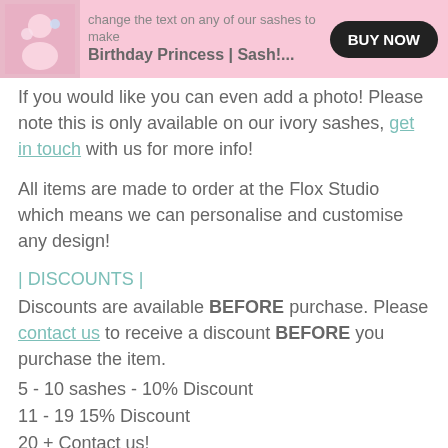[Figure (screenshot): Pink banner with thumbnail image, text 'Birthday Princess | Sash!...' and a black BUY NOW button]
If you would like you can even add a photo! Please note this is only available on our ivory sashes, get in touch with us for more info!
All items are made to order at the Flox Studio which means we can personalise and customise any design!
| DISCOUNTS |
Discounts are available BEFORE purchase. Please contact us to receive a discount BEFORE you purchase the item.
5 - 10 sashes - 10% Discount
11 - 19 15% Discount
20 + Contact us!